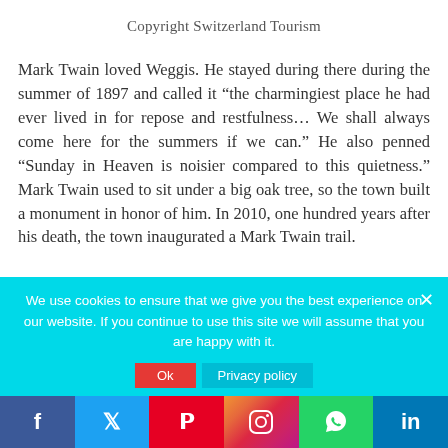Copyright Switzerland Tourism
Mark Twain loved Weggis. He stayed during there during the summer of 1897 and called it “the charmingiest place he had ever lived in for repose and restfulness… We shall always come here for the summers if we can.” He also penned “Sunday in Heaven is noisier compared to this quietness.” Mark Twain used to sit under a big oak tree, so the town built a monument in honor of him. In 2010, one hundred years after his death, the town inaugurated a Mark Twain trail.
We use cookies to ensure that we give you the best experience on our website. If you continue to use this site we will assume that you are happy with it.